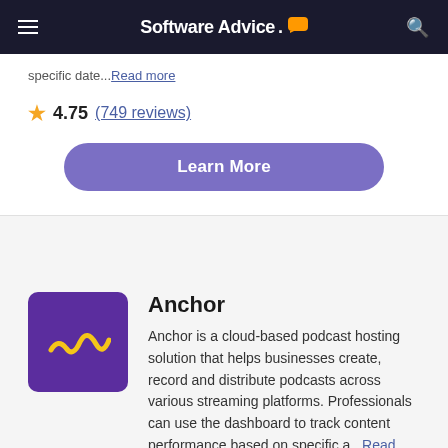Software Advice.
specific date...Read more
4.75 (749 reviews)
Learn More
Anchor
Anchor is a cloud-based podcast hosting solution that helps businesses create, record and distribute podcasts across various streaming platforms. Professionals can use the dashboard to track content performance based on specific a...Read more
4.78 (23 reviews)